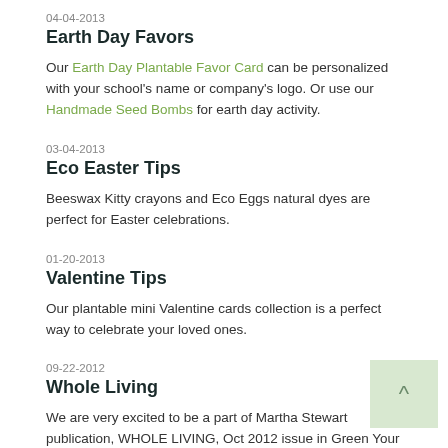04-04-2013
Earth Day Favors
Our Earth Day Plantable Favor Card can be personalized with your school's name or company's logo. Or use our Handmade Seed Bombs for earth day activity.
03-04-2013
Eco Easter Tips
Beeswax Kitty crayons and Eco Eggs natural dyes are perfect for Easter celebrations.
01-20-2013
Valentine Tips
Our plantable mini Valentine cards collection is a perfect way to celebrate your loved ones.
09-22-2012
Whole Living
We are very excited to be a part of Martha Stewart publication, WHOLE LIVING, Oct 2012 issue in Green Your Halloween party section.
07-11-2012